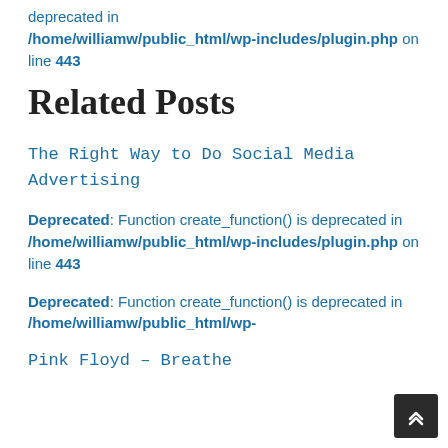deprecated in /home/williamw/public_html/wp-includes/plugin.php on line 443
Related Posts
The Right Way to Do Social Media Advertising
Deprecated: Function create_function() is deprecated in /home/williamw/public_html/wp-includes/plugin.php on line 443
Deprecated: Function create_function() is deprecated in /home/williamw/public_html/wp-...
Pink Floyd – Breathe